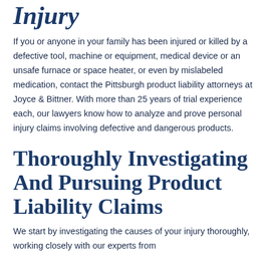Injury
If you or anyone in your family has been injured or killed by a defective tool, machine or equipment, medical device or an unsafe furnace or space heater, or even by mislabeled medication, contact the Pittsburgh product liability attorneys at Joyce & Bittner. With more than 25 years of trial experience each, our lawyers know how to analyze and prove personal injury claims involving defective and dangerous products.
Thoroughly Investigating And Pursuing Product Liability Claims
We start by investigating the causes of your injury thoroughly, working closely with our experts from